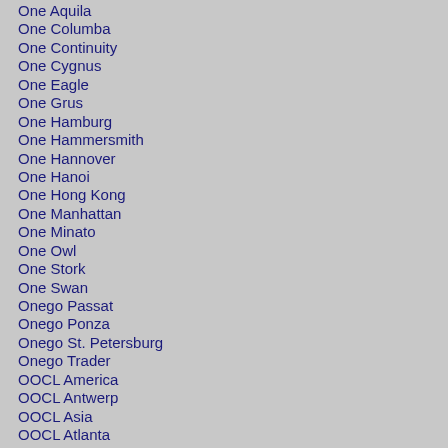One Aquila
One Columba
One Continuity
One Cygnus
One Eagle
One Grus
One Hamburg
One Hammersmith
One Hannover
One Hanoi
One Hong Kong
One Manhattan
One Minato
One Owl
One Stork
One Swan
Onego Passat
Onego Ponza
Onego St. Petersburg
Onego Trader
OOCL America
OOCL Antwerp
OOCL Asia
OOCL Atlanta
OOCL Bangkok
OOCL Belgium
OOCL Berlin
OOCL Brussels
OOCL Busan
OOCL California
OOCL Canada